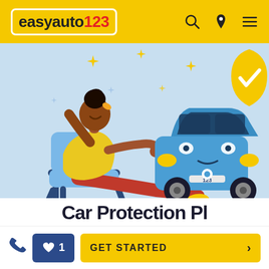easyauto123 — navigation header with search, location, and menu icons
[Figure (illustration): Illustration of a woman relaxing in a chair gesturing toward a blue car with a yellow shield/checkmark badge. Yellow sparkle stars decorate the light blue background. The car has a license plate reading '123'.]
Car Protection Pl... (partially visible)
Phone icon | Heart/favorites badge with count 1 | GET STARTED >